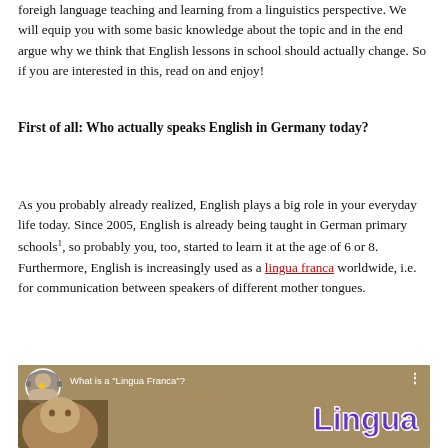foreigh language teaching and learning from a linguistics perspective. We will equip you with some basic knowledge about the topic and in the end argue why we think that English lessons in school should actually change. So if you are interested in this, read on and enjoy!
First of all: Who actually speaks English in Germany today?
As you probably already realized, English plays a big role in your everyday life today. Since 2005, English is already being taught in German primary schools¹, so probably you, too, started to learn it at the age of 6 or 8. Furthermore, English is increasingly used as a lingua franca worldwide, i.e. for communication between speakers of different mother tongues.
[Figure (screenshot): YouTube video thumbnail for 'What is a Lingua Franca?' showing a man's face and the word 'Lingua' in large purple text on a map background.]